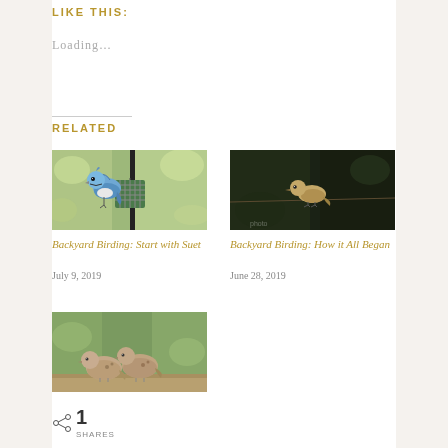LIKE THIS:
Loading...
RELATED
[Figure (photo): Blue jay perched on a suet feeder hanging from a black pole, with green blurred background]
[Figure (photo): Small brown bird (finch) perched on a thin branch against dark green background]
Backyard Birding: Start with Suet
Backyard Birding: How it All Began
July 9, 2019
June 28, 2019
[Figure (photo): Two mourning doves sitting close together on a wooden ledge with green blurred background]
1
SHARES